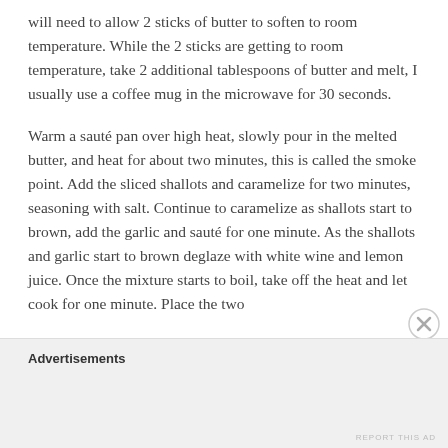will need to allow 2 sticks of butter to soften to room temperature. While the 2 sticks are getting to room temperature, take 2 additional tablespoons of butter and melt, I usually use a coffee mug in the microwave for 30 seconds.
Warm a sauté pan over high heat, slowly pour in the melted butter, and heat for about two minutes, this is called the smoke point. Add the sliced shallots and caramelize for two minutes, seasoning with salt. Continue to caramelize as shallots start to brown, add the garlic and sauté for one minute. As the shallots and garlic start to brown deglaze with white wine and lemon juice. Once the mixture starts to boil, take off the heat and let cook for one minute. Place the two
Advertisements